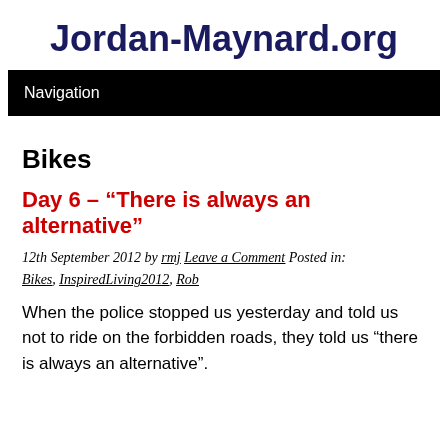Jordan-Maynard.org
Navigation
Bikes
Day 6 – “There is always an alternative”
12th September 2012 by rmj Leave a Comment Posted in: Bikes, InspiredLiving2012, Rob
When the police stopped us yesterday and told us not to ride on the forbidden roads, they told us “there is always an alternative”.